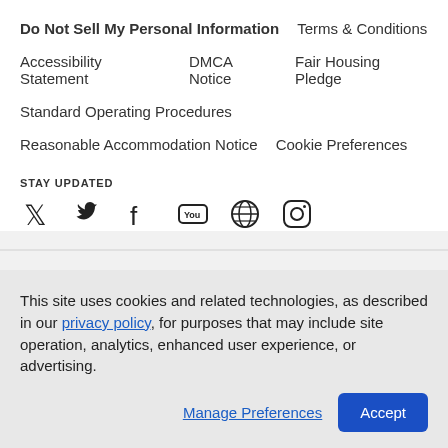Do Not Sell My Personal Information   Terms & Conditions
Accessibility Statement   DMCA Notice   Fair Housing Pledge
Standard Operating Procedures
Reasonable Accommodation Notice   Cookie Preferences
STAY UPDATED
[Figure (other): Social media icons: Twitter, Facebook, YouTube, Globe/Web, Instagram]
This site uses cookies and related technologies, as described in our privacy policy, for purposes that may include site operation, analytics, enhanced user experience, or advertising.
Manage Preferences   Accept